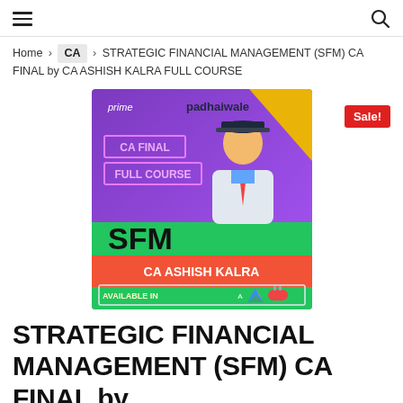≡  🔍
Home > CA > STRATEGIC FINANCIAL MANAGEMENT (SFM) CA FINAL by CA ASHISH KALRA FULL COURSE
[Figure (photo): Course promotional banner for STRATEGIC FINANCIAL MANAGEMENT (SFM) CA FINAL by CA ASHISH KALRA FULL COURSE. Shows a man in a white jacket and red tie wearing a black cap, with text: prime, padhaiwale, CA FINAL, FULL COURSE, SFM, CA ASHISH KALRA, AVAILABLE IN. Icons for Android, Google Drive, and USB shown. Sale! badge in red.]
STRATEGIC FINANCIAL MANAGEMENT (SFM) CA FINAL by